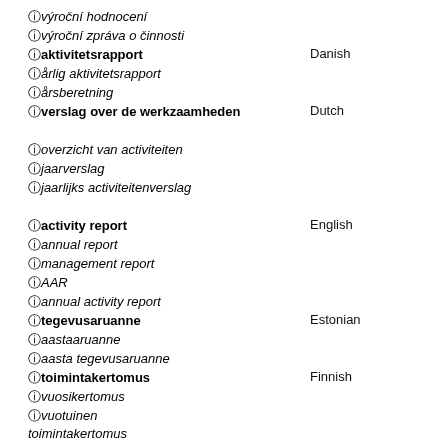výroční hodnocení
výroční zpráva o činnosti
aktivitetsrapport [Danish]
årlig aktivitetsrapport
årsberetning
verslag over de werkzaamheden [Dutch]
overzicht van activiteiten
jaarverslag
jaarlijks activiteitenverslag
activity report [English]
annual report
management report
AAR
annual activity report
tegevusaruanne [Estonian]
aastaaruanne
aasta tegevusaruanne
toimintakertomus [Finnish]
vuosikertomus
vuotuinen toimintakertomus